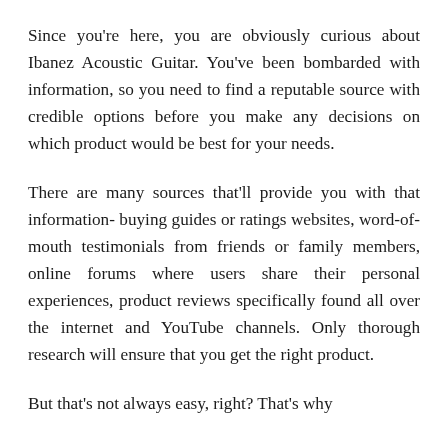Since you're here, you are obviously curious about Ibanez Acoustic Guitar. You've been bombarded with information, so you need to find a reputable source with credible options before you make any decisions on which product would be best for your needs.
There are many sources that'll provide you with that information- buying guides or ratings websites, word-of-mouth testimonials from friends or family members, online forums where users share their personal experiences, product reviews specifically found all over the internet and YouTube channels. Only thorough research will ensure that you get the right product.
But that's not always easy, right? That's why